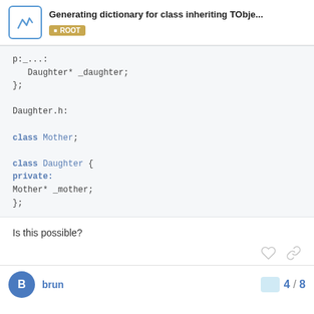Generating dictionary for class inheriting TObje... | ROOT
p:_...::
   Daughter* _daughter;
};

Daughter.h:

class Mother;

class Daughter {
private:
Mother* _mother;
};
Is this possible?
brun  4 / 8